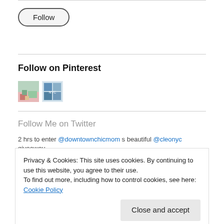[Figure (other): Follow button with rounded pill shape border]
Follow on Pinterest
[Figure (other): Two small Pinterest board thumbnail images]
Follow Me on Twitter
2 hrs to enter @downtownchicmom s beautiful @cleonyc giveaway.
Privacy & Cookies: This site uses cookies. By continuing to use this website, you agree to their use.
To find out more, including how to control cookies, see here: Cookie Policy
Close and accept
https://...